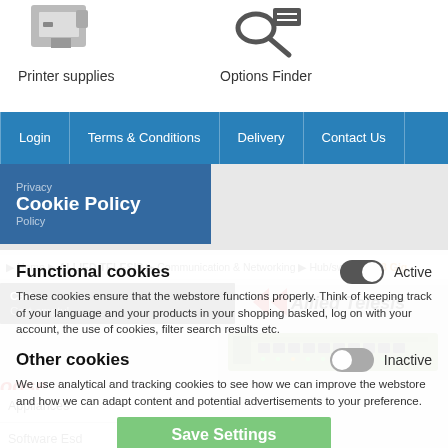[Figure (screenshot): Website navigation screenshot showing printer supplies and options finder icons at top, blue navigation bar with Login, Terms & Conditions, Delivery, Contact Us, and a Cookie Policy overlay panel]
Printer supplies | Options Finder
Login | Terms & Conditions | Delivery | Contact Us
Cookie Policy
Home ▶ ALLIED TELESIS ▶ Communication & Networking ▶ Hub/switch ▶ L3 Gig
Cart
Cart empty!
Functional cookies
Active
These cookies ensure that the webstore functions properly. Think of keeping track of your language and your products in your shopping basked, log on with your account, the use of cookies, filter search results etc.
Other cookies
Inactive
Categories | Manufacturers
We use analytical and tracking cookies to see how we can improve the webstore and how we can adapt content and potential advertisements to your preference.
Appliances
Software Esd
Audio/ Video/ Multimedia
Cables & Accessories
Save Settings